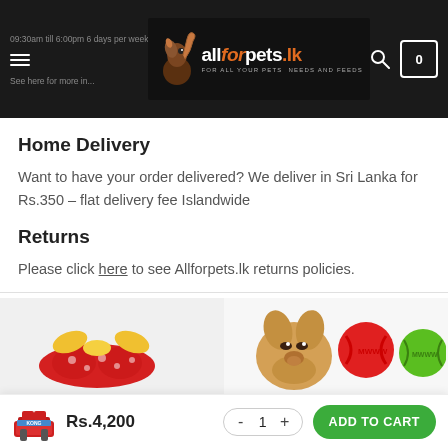09:30am till 6:00pm 6 days per week | allforpets.lk | See here for more in...
Home Delivery
Want to have your order delivered? We deliver in Sri Lanka for Rs.350 – flat delivery fee Islandwide
Returns
Please click here to see Allforpets.lk returns policies.
RELATED PRODUCTS
[Figure (photo): Two product thumbnail images side by side: left shows colorful pet toys (red and yellow plush), right shows a puppy with red and green rubber balls]
Rs.4,200  -  1  +  ADD TO CART